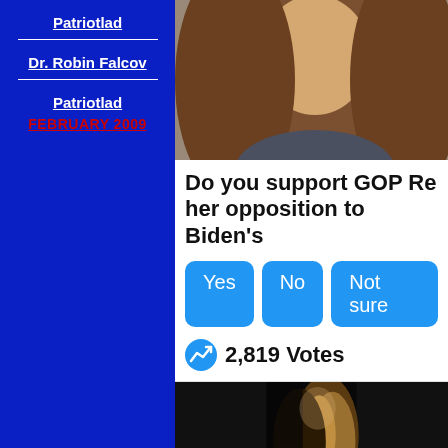Patriotlad
Dr. Robin Falcov
Patriotlad
FEBRUARY 2009
[Figure (photo): Top portion of a woman with long brown wavy hair against a light background]
Do you support GOP Re her opposition to Biden's
Yes   No   Not sure
2,819 Votes
[Figure (photo): Bottom portion of a woman with highlighted brown wavy hair against a dark/black background]